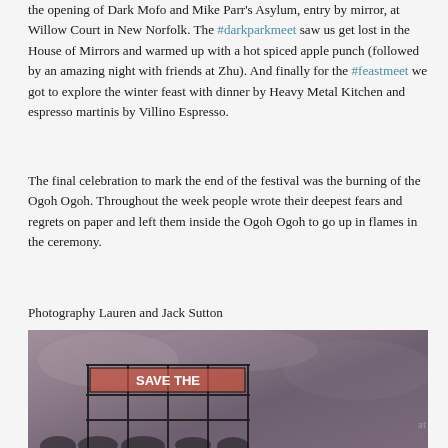the opening of Dark Mofo and Mike Parr's Asylum, entry by mirror, at Willow Court in New Norfolk. The #darkparkmeet saw us get lost in the House of Mirrors and warmed up with a hot spiced apple punch (followed by an amazing night with friends at Zhu). And finally for the #feastmeet we got to explore the winter feast with dinner by Heavy Metal Kitchen and espresso martinis by Villino Espresso.
The final celebration to mark the end of the festival was the burning of the Ogoh Ogoh. Throughout the week people wrote their deepest fears and regrets on paper and left them inside the Ogoh Ogoh to go up in flames in the ceremony.
Photography Lauren and Jack Sutton
[Figure (photo): A photograph showing a scaffold structure with signage against a cloudy purple-grey sky at dusk.]